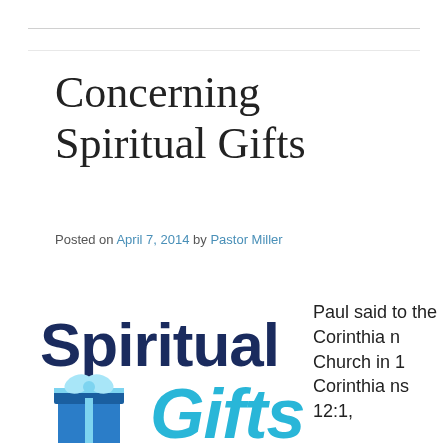Concerning Spiritual Gifts
Posted on April 7, 2014 by Pastor Miller
[Figure (illustration): Spiritual Gifts logo with dark blue text 'Spiritual' above a light blue gift box icon and cyan italic text 'Gifts']
Paul said to the Corinthian Church in 1 Corinthians 12:1,